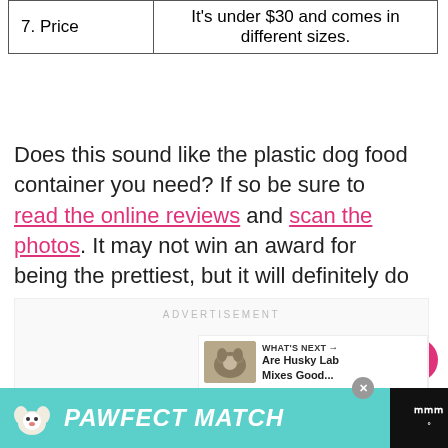|  |  |
| --- | --- |
| 7. Price | It's under $30 and comes in different sizes. |
Does this sound like the plastic dog food container you need? If so be sure to read the online reviews and scan the photos. It may not win an award for being the prettiest, but it will definitely do the job and over 1,000 people have given it good reviews!
[Figure (screenshot): ADVERTISEMENT label and 'What's Next' panel showing husky lab mixes article thumbnail]
[Figure (infographic): Bottom banner advertisement for 'PAWFECT MATCH' with a dog image and teal background, with close button]